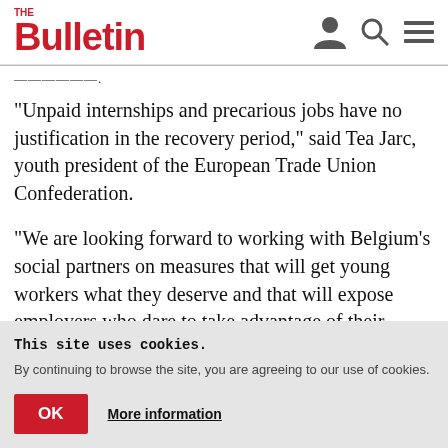The Bulletin
——————
“Unpaid internships and precarious jobs have no justification in the recovery period,” said Tea Jarc, youth president of the European Trade Union Confederation.
“We are looking forward to working with Belgium’s social partners on measures that will get young workers what they deserve and that will expose employers who dare to take advantage of their
This site uses cookies. By continuing to browse the site, you are agreeing to our use of cookies.